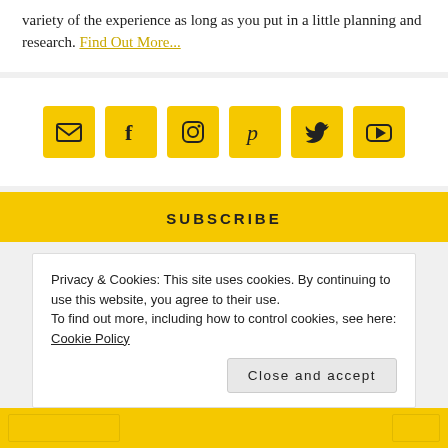variety of the experience as long as you put in a little planning and research. Find Out More...
[Figure (infographic): Row of six yellow square social media icon buttons: email/envelope, Facebook, Instagram, Pinterest, Twitter, YouTube]
SUBSCRIBE
Privacy & Cookies: This site uses cookies. By continuing to use this website, you agree to their use.
To find out more, including how to control cookies, see here: Cookie Policy
Close and accept